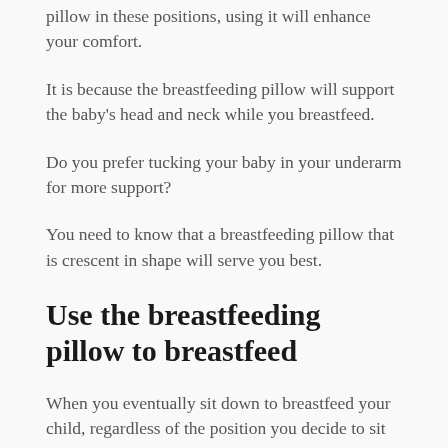pillow in these positions, using it will enhance your comfort.
It is because the breastfeeding pillow will support the baby's head and neck while you breastfeed.
Do you prefer tucking your baby in your underarm for more support?
You need to know that a breastfeeding pillow that is crescent in shape will serve you best.
Use the breastfeeding pillow to breastfeed
When you eventually sit down to breastfeed your child, regardless of the position you decide to sit in, or the kind of pillow you choose, the most important thing should be...